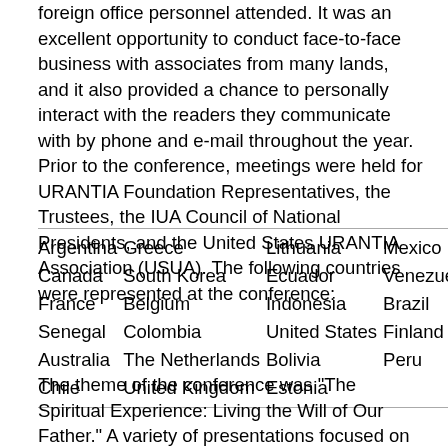foreign office personnel attended. It was an excellent opportunity to conduct face-to-face business with associates from many lands, and it also provided a chance to personally interact with the readers they communicate with by phone and e-mail throughout the year. Prior to the conference, meetings were held for URANTIA Foundation Representatives, the Trustees, the IUA Council of National Presidents, and the United States URANTIA Association (USUA). The following countries were represented at the conference:
| Argentina | Greece | Lithuania | Mexico |
| Canada | South Korea | Ecuador | Venezuela |
| France | Belgium | Indonesia | Brazil |
| Senegal | Colombia | United States | Finland |
| Australia | The Netherlands | Bolivia | Peru |
| Chile | United Kingdom | Estonia |  |
The theme of the conference was "The Spiritual Experience: Living the Will of Our Father." A variety of presentations focused on the diverse ways that we approach the Father's will and how to best integrate his will into our daily living. Many of the speakers were from countries outside the United States, and some of them gave speeches in their native languages. Translators